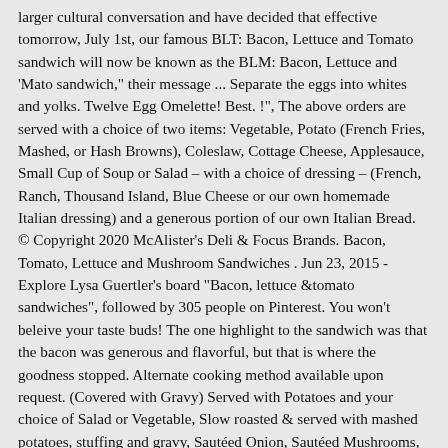larger cultural conversation and have decided that effective tomorrow, July 1st, our famous BLT: Bacon, Lettuce and Tomato sandwich will now be known as the BLM: Bacon, Lettuce and 'Mato sandwich," their message ... Separate the eggs into whites and yolks. Twelve Egg Omelette! Best. !", The above orders are served with a choice of two items: Vegetable, Potato (French Fries, Mashed, or Hash Browns), Coleslaw, Cottage Cheese, Applesauce, Small Cup of Soup or Salad – with a choice of dressing – (French, Ranch, Thousand Island, Blue Cheese or our own homemade Italian dressing) and a generous portion of our own Italian Bread. © Copyright 2020 McAlister's Deli & Focus Brands. Bacon, Tomato, Lettuce and Mushroom Sandwiches . Jun 23, 2015 - Explore Lysa Guertler's board "Bacon, lettuce &tomato sandwiches", followed by 305 people on Pinterest. You won't beleive your taste buds! The one highlight to the sandwich was that the bacon was generous and flavorful, but that is where the goodness stopped. Alternate cooking method available upon request. (Covered with Gravy) Served with Potatoes and your choice of Salad or Vegetable, Slow roasted & served with mashed potatoes, stuffing and gravy, Sautéed Onion, Sautéed Mushrooms, and Mozzarella cheese baked & grilled for a deliciously tender experience, "Yah I know, but you guys think it is so good that you won't let me take it off! Deals and promos available